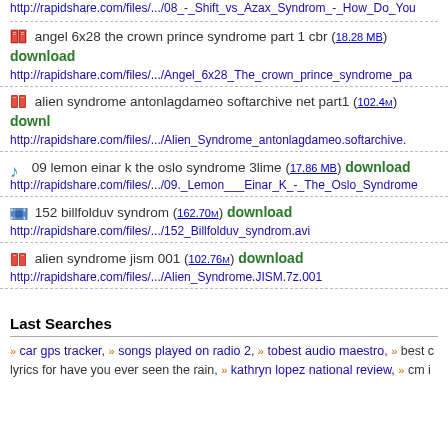http://rapidshare.com/files/.../08_-_Shift_vs_Azax_Syndrom_-_How_Do_You
angel 6x28 the crown prince syndrome part 1 cbr (18.28 MB) download
http://rapidshare.com/files/.../Angel_6x28_The_crown_prince_syndrome_pa
alien syndrome antonlagdameo softarchive net part1 (102.4M) download
http://rapidshare.com/files/.../Alien_Syndrome_antonlagdameo.softarchive.
09 lemon einar k the oslo syndrome 3lime (17.86 MB) download
http://rapidshare.com/files/.../09._Lemon___Einar_K_-_The_Oslo_Syndrome
152 billfolduv syndrom (162.70M) download
http://rapidshare.com/files/.../152_Billfolduv_syndrom.avi
alien syndrome jism 001 (102.76M) download
http://rapidshare.com/files/.../Alien_Syndrome.JISM.7z.001
Last Searches
car gps tracker, songs played on radio 2, tobest audio maestro, best c lyrics for have you ever seen the rain, kathryn lopez national review, cm i